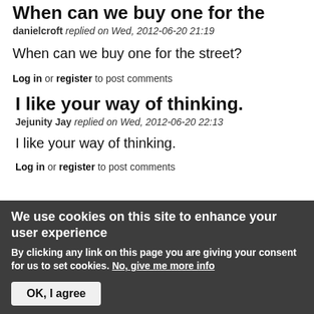When can we buy one for the
danielcroft replied on Wed, 2012-06-20 21:19
When can we buy one for the street?
Log in or register to post comments
I like your way of thinking.
Jejunity Jay replied on Wed, 2012-06-20 22:13
I like your way of thinking.
Log in or register to post comments
We use cookies on this site to enhance your user experience
By clicking any link on this page you are giving your consent for us to set cookies. No, give me more info
OK, I agree